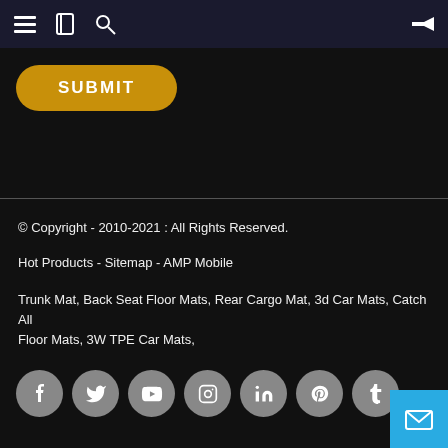[Figure (screenshot): Top navigation bar with hamburger menu, bookmark, search icons on left and back arrow on right, dark background]
[Figure (screenshot): Golden/amber SUBMIT button with rounded corners on black background]
© Copyright - 2010-2021 : All Rights Reserved.
Hot Products - Sitemap - AMP Mobile
Trunk Mat, Back Seat Floor Mats, Rear Cargo Mat, 3d Car Mats, Catch All Floor Mats, 3W TPE Car Mats,
[Figure (screenshot): Row of 7 social media icon circles (Facebook, Twitter, YouTube, Instagram, LinkedIn, Pinterest, Tumblr) in grey on black background]
[Figure (screenshot): Blue email button at bottom right corner]